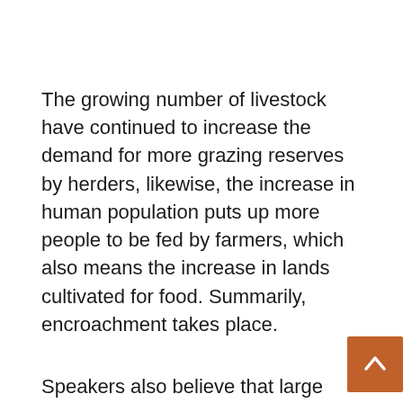The growing number of livestock have continued to increase the demand for more grazing reserves by herders, likewise, the increase in human population puts up more people to be fed by farmers, which also means the increase in lands cultivated for food. Summarily, encroachment takes place.
Speakers also believe that large scale cattle rustling is also a problem, adding that where cattle rustlers rob communities of their livestock, they destroy such communities to create a partial